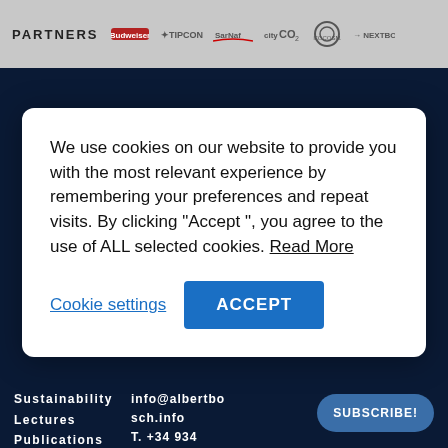PARTNERS
We use cookies on our website to provide you with the most relevant experience by remembering your preferences and repeat visits. By clicking "Accept ", you agree to the use of ALL selected cookies. Read More
Cookie settings
ACCEPT
Sustainability
Lectures
Publications
Contact
E-Shop
info@albertbosch.info
T. +34 934 145 448
SUBSCRIBE!